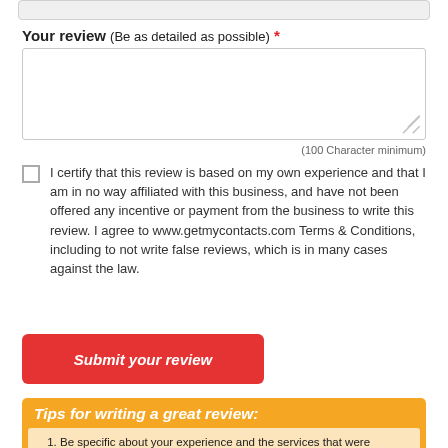Your review (Be as detailed as possible) *
[Figure (screenshot): Empty textarea input field for review text]
(100 Character minimum)
I certify that this review is based on my own experience and that I am in no way affiliated with this business, and have not been offered any incentive or payment from the business to write this review. I agree to www.getmycontacts.com Terms & Conditions, including to not write false reviews, which is in many cases against the law.
Submit your review
Tips for writing a great review:
Be specific about your experience and the services that were provided.
Be truthful - this review will help other consumers as well as the